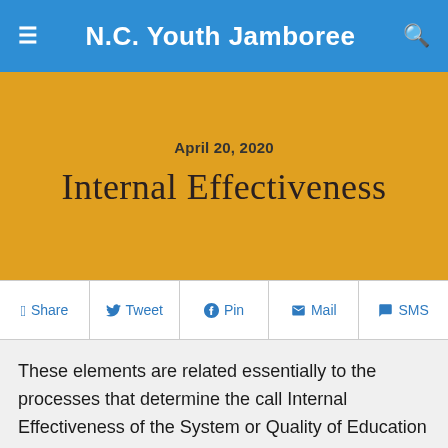N.C. Youth Jamboree
April 20, 2020
Internal Effectiveness
Share  Tweet  Pin  Mail  SMS
These elements are related essentially to the processes that determine the call Internal Effectiveness of the System or Quality of Education (Ten Hochleitner, 1969; Beeby, 1970). It remembers Fertile valleys to us in addition, that recently, and in relation to this subject, the quality as internal effectiveness of the systems and institutions of